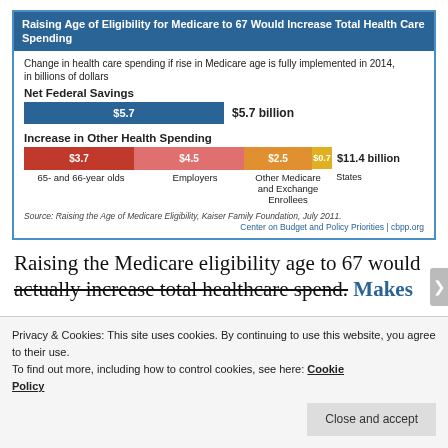[Figure (infographic): Infographic showing Net Federal Savings of $5.7 billion vs Increase in Other Health Spending of $11.4 billion broken into segments: 65- and 66-year olds $3.7, Employers $4.5, Other Medicare and Exchange Enrollees $2.5, States $0.7]
Source: Raising the Age of Medicare Eligibility, Kaiser Family Foundation, July 2011. Center on Budget and Policy Priorities | cbpp.org
Raising the Medicare eligibility age to 67 would actually increase total healthcare spend. Makes
Privacy & Cookies: This site uses cookies. By continuing to use this website, you agree to their use. To find out more, including how to control cookies, see here: Cookie Policy
Close and accept